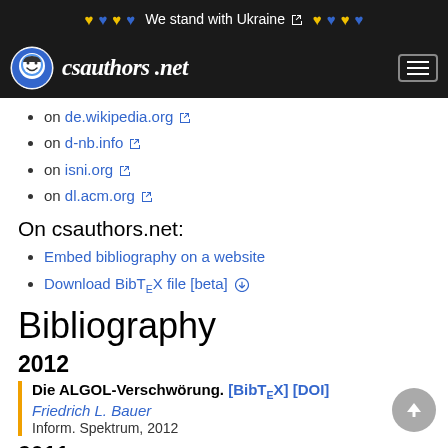We stand with Ukraine 💛💙💛💙
[Figure (logo): csauthors.net logo with smiley face icon and site name in italic script]
on de.wikipedia.org
on d-nb.info
on isni.org
on dl.acm.org
On csauthors.net:
Embed bibliography on a website
Download BibTeX file [beta]
Bibliography
2012
Die ALGOL-Verschwörung. [BibTeX] [DOI]
Friedrich L. Bauer
Inform. Spektrum, 2012
2011